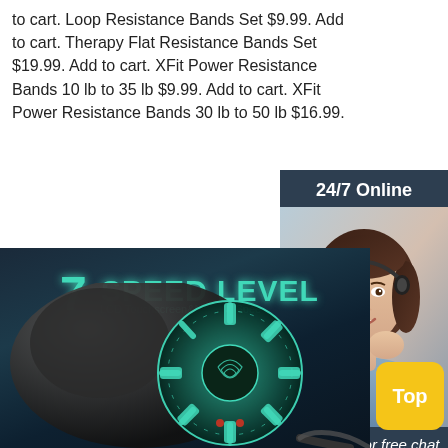to cart. Loop Resistance Bands Set $9.99. Add to cart. Therapy Flat Resistance Bands Set $19.99. Add to cart. XFit Power Resistance Bands 10 lb to 35 lb $9.99. Add to cart. XFit Power Resistance Bands 30 lb to 50 lb $16.99.
[Figure (other): Orange 'Get Price' button]
[Figure (infographic): Dark blue sidebar panel with '24/7 Online' header, photo of female customer service agent wearing headset, 'Click here for free chat!' text, and orange QUOTATION button]
[Figure (photo): Product advertisement image showing '7 SPEED LEVEL' text in teal, LCD Touchscreen & Multiple Speed subtitle, and a massager device with circular speed-indicator display showing cyan LED lights]
[Figure (other): Yellow rounded 'Top' button at bottom right]